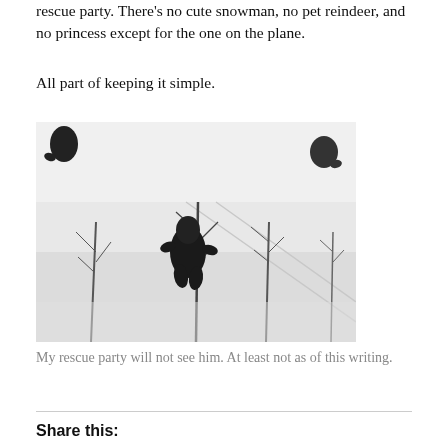rescue party. There's no cute snowman, no pet reindeer, and no princess except for the one on the plane.
All part of keeping it simple.
[Figure (photo): Black and white photograph of a snowy slope with bare trees and dark silhouetted figures, one large central figure resembling Bigfoot/Sasquatch in the snow.]
My rescue party will not see him. At least not as of this writing.
Share this: